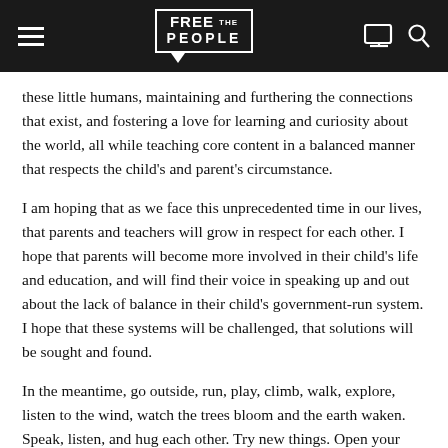FREE THE PEOPLE [logo]
these little humans, maintaining and furthering the connections that exist, and fostering a love for learning and curiosity about the world, all while teaching core content in a balanced manner that respects the child's and parent's circumstance.
I am hoping that as we face this unprecedented time in our lives, that parents and teachers will grow in respect for each other. I hope that parents will become more involved in their child's life and education, and will find their voice in speaking up and out about the lack of balance in their child's government-run system. I hope that these systems will be challenged, that solutions will be sought and found.
In the meantime, go outside, run, play, climb, walk, explore, listen to the wind, watch the trees bloom and the earth waken. Speak, listen, and hug each other. Try new things. Open your mind. Quiet yourself.
Discover that you can learn anywhere.